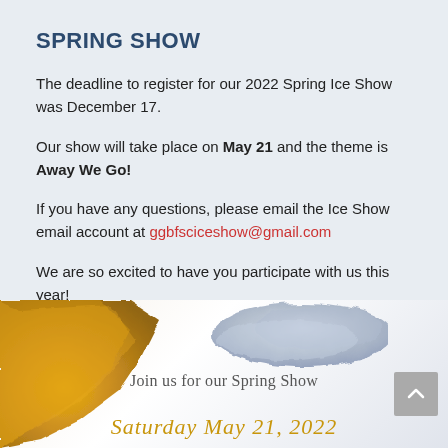SPRING SHOW
The deadline to register for our 2022 Spring Ice Show was December 17.
Our show will take place on May 21 and the theme is Away We Go!
If you have any questions, please email the Ice Show email account at ggbfsciceshow@gmail.com
We are so excited to have you participate with us this year!
[Figure (illustration): Spring Show promotional poster with gold and silver brushstroke decorations. Text reads 'Join us for our Spring Show' and 'Saturday May 21 2022' in gold italic font.]